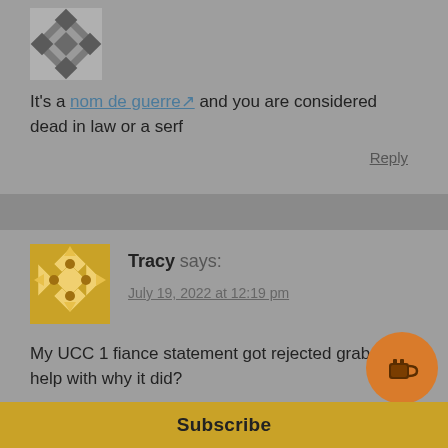[Figure (illustration): Decorative avatar with geometric diamond/triangle pattern in grey tones]
It's a nom de guerre and you are considered dead in law or a serf
Reply
[Figure (illustration): Decorative avatar with diamond/geometric pattern in golden yellow and white]
Tracy says:
July 19, 2022 at 12:19 pm
My UCC 1 fiance statement got rejected grab I get help with why it did?
Reply
Subscribe